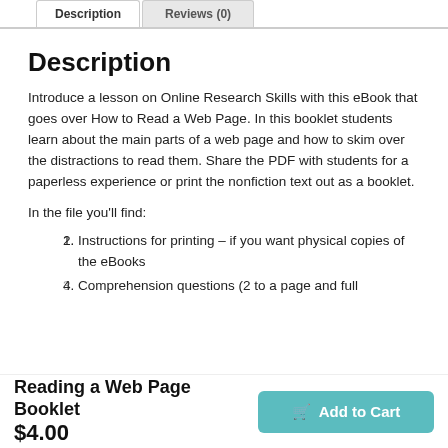Description | Reviews (0)
Description
Introduce a lesson on Online Research Skills with this eBook that goes over How to Read a Web Page. In this booklet students learn about the main parts of a web page and how to skim over the distractions to read them. Share the PDF with students for a paperless experience or print the nonfiction text out as a booklet.
In the file you'll find:
Instructions for printing – if you want physical copies of the eBooks
Comprehension questions (2 to a page and full
Reading a Web Page Booklet $4.00  Add to Cart